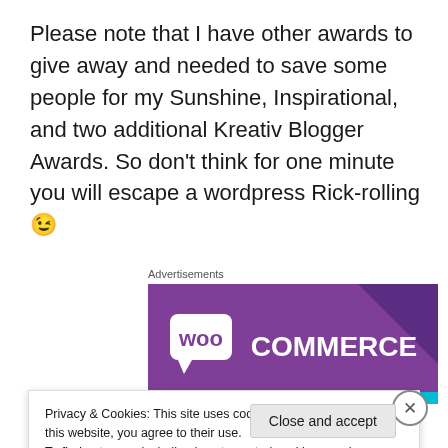Please note that I have other awards to give away and needed to save some people for my Sunshine, Inspirational, and two additional Kreativ Blogger Awards. So don't think for one minute you will escape a wordpress Rick-rolling 😉
Advertisements
[Figure (logo): WooCommerce advertisement banner with purple background and WooCommerce logo in white text]
Privacy & Cookies: This site uses cookies. By continuing to use this website, you agree to their use.
To find out more, including how to control cookies, see here: Cookie Policy
Close and accept